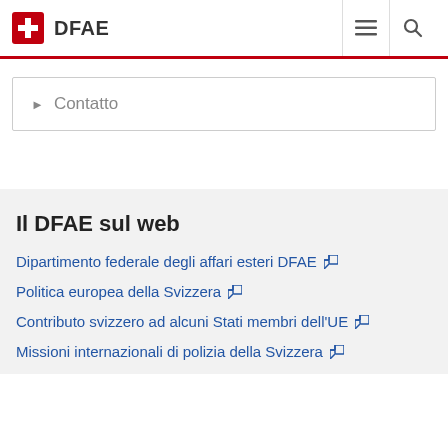DFAE
Contatto
Il DFAE sul web
Dipartimento federale degli affari esteri DFAE
Politica europea della Svizzera
Contributo svizzero ad alcuni Stati membri dell'UE
Missioni internazionali di polizia della Svizzera